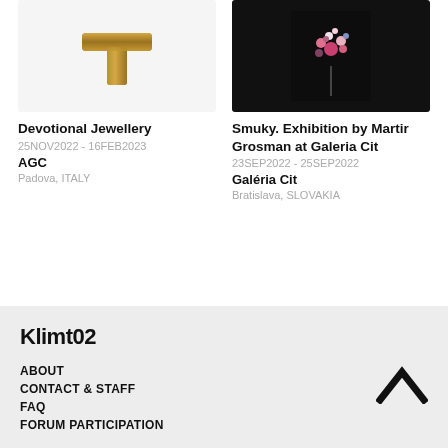[Figure (photo): Brass T-shaped jewellery piece on white background]
Devotional Jewellery
25NOV2022 - 16FEB2023
AGC
Padova, ITALY
[Figure (photo): Dark background with colourful flower bouquet, Smuky exhibition]
Smuky. Exhibition by Martin Grosman at Galeria Cit
23SEP2022 - 25SEP2022
Galéria Cit
Bratislava, SLOVAKIA
Klimt02
ABOUT
CONTACT & STAFF
FAQ
FORUM PARTICIPATION